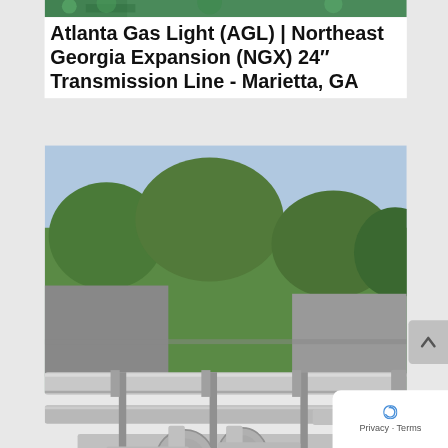[Figure (photo): Partial top image of pipeline or green vegetation, cropped at top of page]
Atlanta Gas Light (AGL) | Northeast Georgia Expansion (NGX) 24″ Transmission Line - Marietta, GA
[Figure (photo): Outdoor photograph of a natural gas pipeline station with multiple large silver pipes, valves, and fittings on a gravel pad, with trees and buildings in the background]
Florida Public Utilities | New Smyrna Beach Lateral Pipeline - New Smyrna Beach, FL
[Figure (photo): Construction site photo showing heavy equipment and workers in a wooded/vegetated area, partially visible at bottom of page]